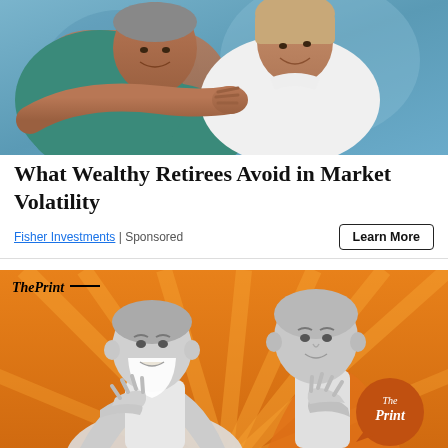[Figure (photo): Stock photo of a smiling middle-aged couple embracing against a blue background, used in a Fisher Investments advertisement about wealthy retirees and market volatility.]
What Wealthy Retirees Avoid in Market Volatility
Fisher Investments | Sponsored
[Figure (photo): ThePrint editorial illustration showing two Indian political figures (resembling Narendra Modi and Yogi Adityanath) in black-and-white against a vibrant orange sunburst background, with ThePrint logo in top-left and a circular ThePrint badge in the bottom-right.]